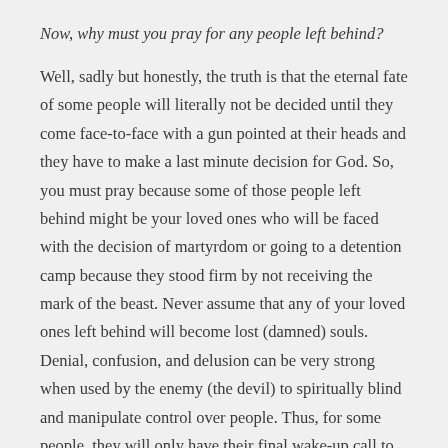Now, why must you pray for any people left behind?
Well, sadly but honestly, the truth is that the eternal fate of some people will literally not be decided until they come face-to-face with a gun pointed at their heads and they have to make a last minute decision for God. So, you must pray because some of those people left behind might be your loved ones who will be faced with the decision of martyrdom or going to a detention camp because they stood firm by not receiving the mark of the beast. Never assume that any of your loved ones left behind will become lost (damned) souls. Denial, confusion, and delusion can be very strong when used by the enemy (the devil) to spiritually blind and manipulate control over people. Thus, for some people, they will only have their final wake-up call to God at the moment that their lives are in severe distress and in